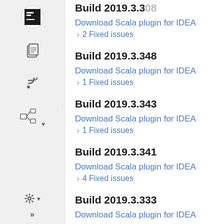Build 2019.3.348
Download Scala plugin for IDEA
1 Fixed issues
Build 2019.3.343
Download Scala plugin for IDEA
1 Fixed issues
Build 2019.3.341
Download Scala plugin for IDEA
4 Fixed issues
Build 2019.3.333
Download Scala plugin for IDEA